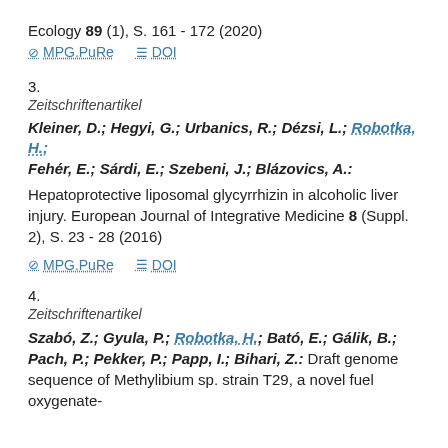Ecology 89 (1), S. 161 - 172 (2020)
MPG.PuRe   DOI
3.
Zeitschriftenartikel
Kleiner, D.; Hegyi, G.; Urbanics, R.; Dézsi, L.; Robotka, H.; Fehér, E.; Sárdi, E.; Szebeni, J.; Blázovics, A.:
Hepatoprotective liposomal glycyrrhizin in alcoholic liver injury. European Journal of Integrative Medicine 8 (Suppl. 2), S. 23 - 28 (2016)
MPG.PuRe   DOI
4.
Zeitschriftenartikel
Szabó, Z.; Gyula, P.; Robotka, H.; Bató, E.; Gálik, B.; Pach, P.; Pekker, P.; Papp, I.; Bihari, Z.: Draft genome sequence of Methylibium sp. strain T29, a novel fuel oxygenate-